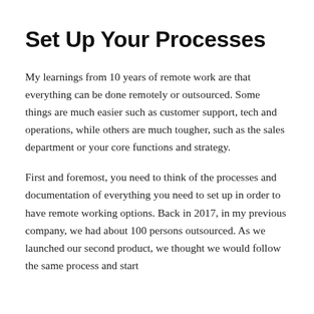Set Up Your Processes
My learnings from 10 years of remote work are that everything can be done remotely or outsourced. Some things are much easier such as customer support, tech and operations, while others are much tougher, such as the sales department or your core functions and strategy.
First and foremost, you need to think of the processes and documentation of everything you need to set up in order to have remote working options. Back in 2017, in my previous company, we had about 100 persons outsourced. As we launched our second product, we thought we would follow the same process and start